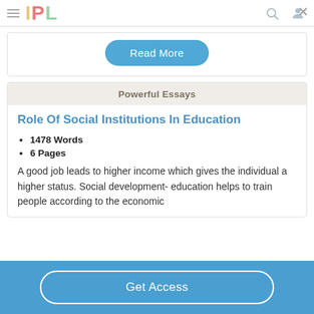IPL
Read More
Powerful Essays
Role Of Social Institutions In Education
1478 Words
6 Pages
A good job leads to higher income which gives the individual a higher status. Social development- education helps to train people according to the economic
Get Access